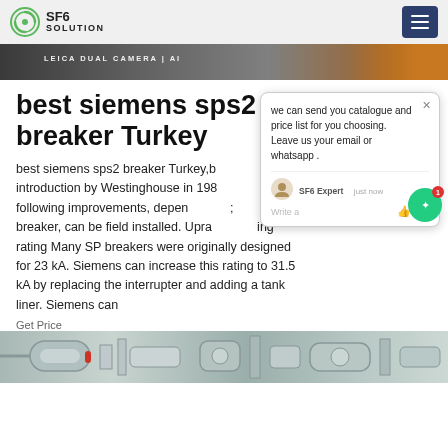SF6 SOLUTION
[Figure (photo): Top photo strip showing camera/industrial equipment with LEICA DUAL CAMERA | AI label and orange gradient on right]
best siemens sps2 breaker Turkey
best siemens sps2 breaker Turkey,b... it introduction by Westinghouse in 198... following improvements, depen...; breaker, can be field installed. Upra... ing rating Many SP breakers were originally designed for 23 kA. Siemens can increase this rating to 31.5 kA by replacing the interrupter and adding a tank liner. Siemens can
[Figure (screenshot): Chat popup overlay: 'we can send you catalogue and price list for you choosing. Leave us your email or whatsapp.' with SF6 Expert agent, just now, Write a message input]
[Figure (photo): Bottom photo strip showing industrial SF6 circuit breaker equipment in gray/green colors]